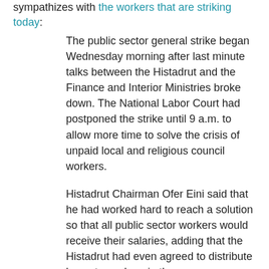sympathizes with the workers that are striking today:
The public sector general strike began Wednesday morning after last minute talks between the Histadrut and the Finance and Interior Ministries broke down. The National Labor Court had postponed the strike until 9 a.m. to allow more time to solve the crisis of unpaid local and religious council workers.
Histadrut Chairman Ofer Eini said that he had worked hard to reach a solution so that all public sector workers would receive their salaries, adding that the Histadrut had even agreed to distribute loans to workers in the more problematic local authorities on condition that employees in all other municipalities got paid.
"We were close to an agreement but the government ministries changed their minds," Eini told reporters outside the court.
"But the government" — partial text cut off at bottom